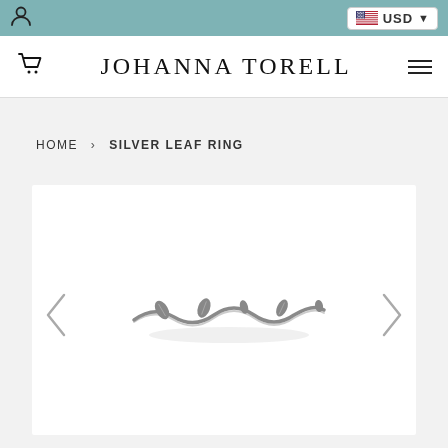Johanna Torell – USD currency selector, user icon, cart icon, hamburger menu
JOHANNA TORELL
HOME › SILVER LEAF RING
[Figure (photo): Product photo of a silver leaf ring on white background, with left and right navigation arrows on either side]